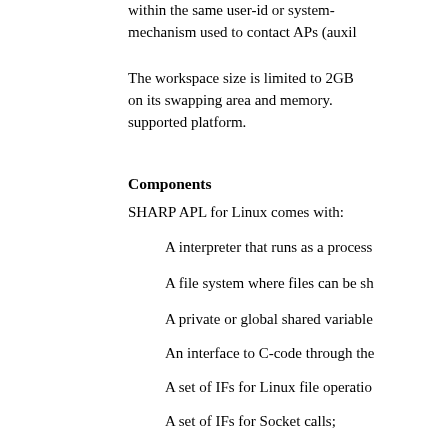within the same user-id or system- mechanism used to contact APs (auxil
The workspace size is limited to 2GB on its swapping area and memory. supported platform.
Components
SHARP APL for Linux comes with:
A interpreter that runs as a process
A file system where files can be sh
A private or global shared variable
An interface to C-code through the
A set of IFs for Linux file operatio
A set of IFs for Socket calls;
A host AP;
A full screen function editor;
A set of public workspaces for dat